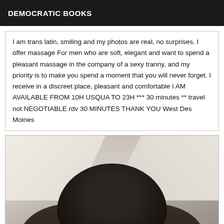DEMOCRATIC BOOKS
I am trans latin, smiling and my photos are real, no surprises. I offer massage For men who are soft, elegant and want to spend a pleasant massage in the company of a sexy tranny, and my priority is to make you spend a moment that you will never forget. I receive in a discreet place, pleasant and comfortable I AM AVAILABLE FROM 10H USQUA TO 23H *** 30 minutes ** travel not NEGOTIABLE rdv 30 MINUTES THANK YOU West Des Moines
[Figure (photo): Photo of a person with dark hair, taken indoors against a light-colored wall/ceiling background. Only the top of the head and partial face are visible.]